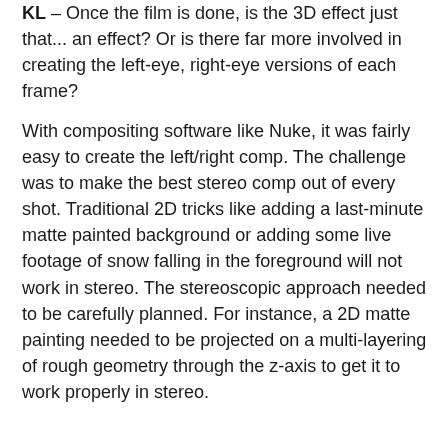KL – Once the film is done, is the 3D effect just that... an effect? Or is there far more involved in creating the left-eye, right-eye versions of each frame?
With compositing software like Nuke, it was fairly easy to create the left/right comp. The challenge was to make the best stereo comp out of every shot. Traditional 2D tricks like adding a last-minute matte painted background or adding some live footage of snow falling in the foreground will not work in stereo. The stereoscopic approach needed to be carefully planned. For instance, a 2D matte painting needed to be projected on a multi-layering of rough geometry through the z-axis to get it to work properly in stereo.